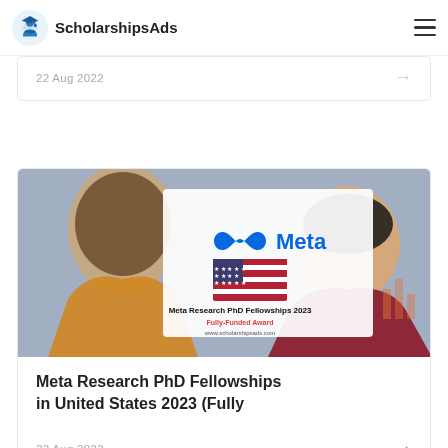ScholarshipsAds
22 Aug 2022
[Figure (photo): Meta Research PhD Fellowships 2023 promotional banner with two people in conversation, Meta logo, US flag, text 'Meta Research PhD Fellowships 2023 Fully-Funded Award www.scholarshipsads.com']
Meta Research PhD Fellowships in United States 2023 (Fully
22 Aug 2022